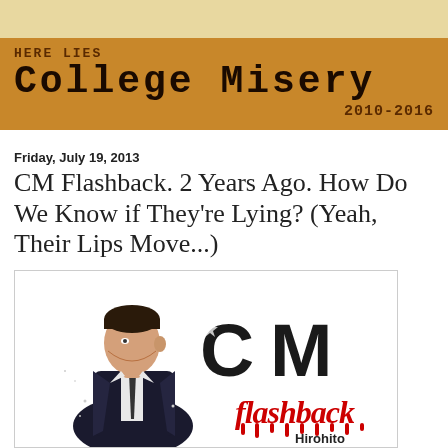[Figure (illustration): Top tan/cream decorative bar]
HERE LIES
COLLEGE MISERY
2010-2016
Friday, July 19, 2013
CM Flashback. 2 Years Ago. How Do We Know if They're Lying? (Yeah, Their Lips Move...)
[Figure (illustration): CM Flashback logo image: illustration of a man in suit on left, large black 'CM' letters with stars on right, red dripping 'flashback' text below]
Hirohito Basketweaver, Ph.D. Needs Input